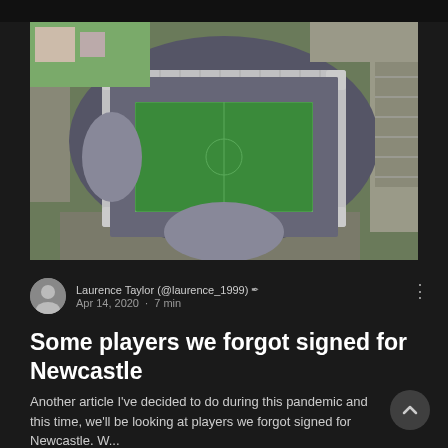[Figure (photo): Aerial photograph of a football stadium (St. James' Park, Newcastle) showing the pitch, stands with white roof structure, and surrounding urban area.]
Laurence Taylor (@laurence_1999) ✒ Apr 14, 2020 · 7 min
Some players we forgot signed for Newcastle
Another article I've decided to do during this pandemic and this time, we'll be looking at players we forgot signed for Newcastle. W...